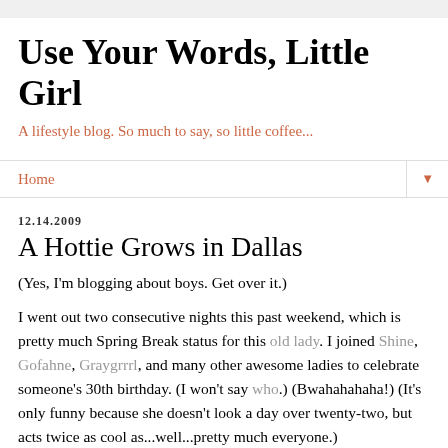Use Your Words, Little Girl
A lifestyle blog. So much to say, so little coffee...
Home
12.14.2009
A Hottie Grows in Dallas
(Yes, I'm blogging about boys. Get over it.)
I went out two consecutive nights this past weekend, which is pretty much Spring Break status for this old lady. I joined Shine, Gofahne, Graygrrrl, and many other awesome ladies to celebrate someone's 30th birthday. (I won't say who.) (Bwahahahaha!) (It's only funny because she doesn't look a day over twenty-two, but acts twice as cool as...well...pretty much everyone.)
Anywho...